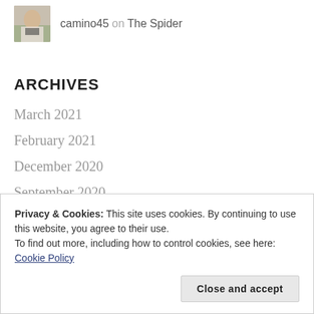camino45 on The Spider
ARCHIVES
March 2021
February 2021
December 2020
September 2020
Privacy & Cookies: This site uses cookies. By continuing to use this website, you agree to their use. To find out more, including how to control cookies, see here: Cookie Policy
Close and accept